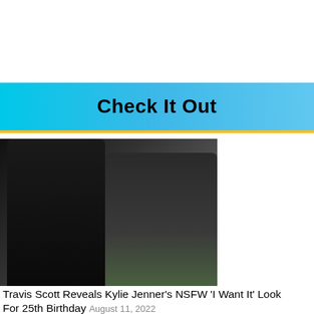Check It Out
[Figure (photo): Travis Scott and Kylie Jenner posing together at an event in front of a backdrop reading 'THE NEW SCHOOL' and 'acye'. Travis Scott wears a black jacket with braids and a necklace. Kylie Jenner wears a dark olive green bustier dress.]
Travis Scott Reveals Kylie Jenner's NSFW 'I Want It' Look For 25th Birthday August 11, 2022